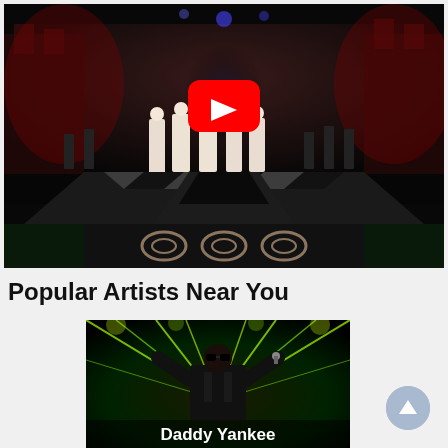[Figure (screenshot): YouTube video thumbnail showing a nighttime outdoor concert performance with singers in white/pink dresses on a checkered stage with red castle-like backdrop and a YouTube play button overlay]
Popular Artists Near You
[Figure (photo): Concert photo of Daddy Yankee performing on stage with green laser lights radiating behind him, text 'Daddy Yankee' shown at bottom]